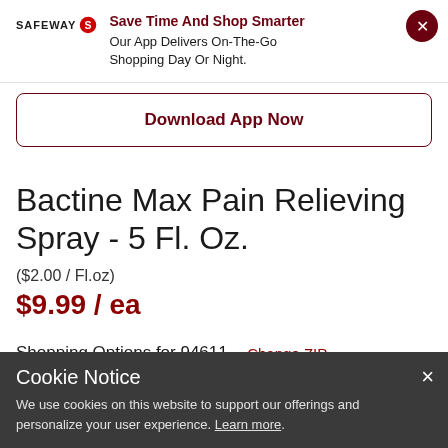[Figure (logo): Safeway logo with red circle icon and text]
Save Time And Shop Smarter
Our App Delivers On-The-Go Shopping Day Or Night.
Download App Now
Bactine Max Pain Relieving Spray - 5 Fl. Oz.
($2.00 / Fl.oz)
$9.99 / ea
Shopping Options for 94611  Change ZIP
Cookie Notice
We use cookies on this website to support our offerings and personalize your user experience. Learn more.